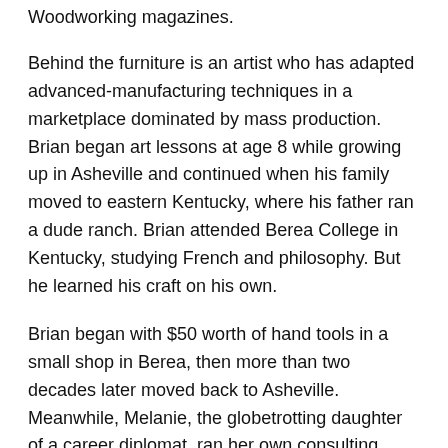Woodworking magazines.
Behind the furniture is an artist who has adapted advanced-manufacturing techniques in a marketplace dominated by mass production. Brian began art lessons at age 8 while growing up in Asheville and continued when his family moved to eastern Kentucky, where his father ran a dude ranch. Brian attended Berea College in Kentucky, studying French and philosophy. But he learned his craft on his own.
Brian began with $50 worth of hand tools in a small shop in Berea, then more than two decades later moved back to Asheville. Meanwhile, Melanie, the globetrotting daughter of a career diplomat, ran her own consulting company, teaching leadership, team-building and planning.
“I hired her to help me develop a strategic plan,” Brian says. That was in 2009. The two married in 2012. “We realized that